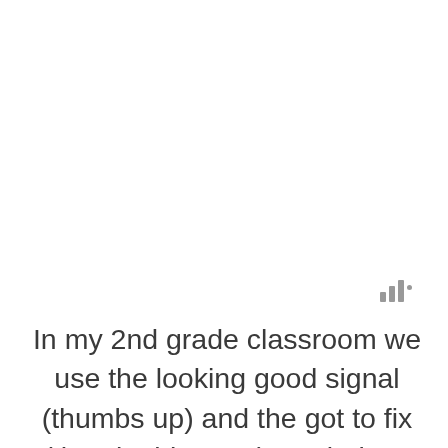[Figure (other): Small bar/signal icon with three vertical bars of increasing height and a small dot, rendered in gray]
In my 2nd grade classroom we use the looking good signal (thumbs up) and the got to fix (thumb sideways) symbols. I don't like to use the thumbs down symbol,